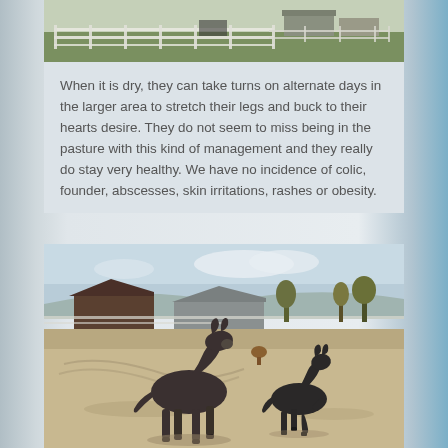[Figure (photo): Aerial or elevated view of a farm with white fencing, green grass, and farm buildings in the background.]
When it is dry, they can take turns on alternate days in the larger area to stretch their legs and buck to their hearts desire. They do not seem to miss being in the pasture with this kind of management and they really do stay very healthy. We have no incidence of colic, founder, abscesses, skin irritations, rashes or obesity.
[Figure (photo): Two dark-colored donkeys running/trotting in a sandy paddock area, with farm buildings and fencing visible in the background under a partly cloudy sky.]